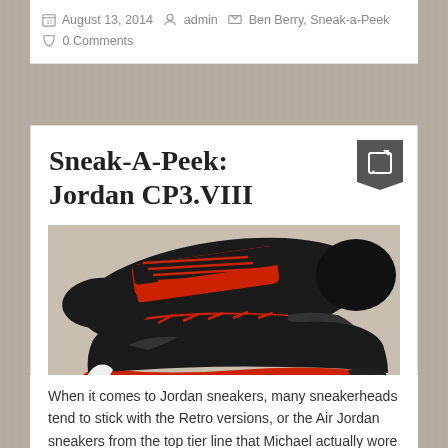August 13, 2014  admin  Ben Berry, Sneak-a-Peek  0 Comments
Sneak-A-Peek: Jordan CP3.VIII
[Figure (photo): Photo of Jordan CP3.VIII sneakers in black and red colorway, shown from above and side angle. Two shoes displayed overlapping, with red laces and red outsole, black upper with textured leather, white midsole visible at bottom.]
When it comes to Jordan sneakers, many sneakerheads tend to stick with the Retro versions, or the Air Jordan sneakers from the top tier line that Michael actually wore while playing (Jordan 1 – 17)